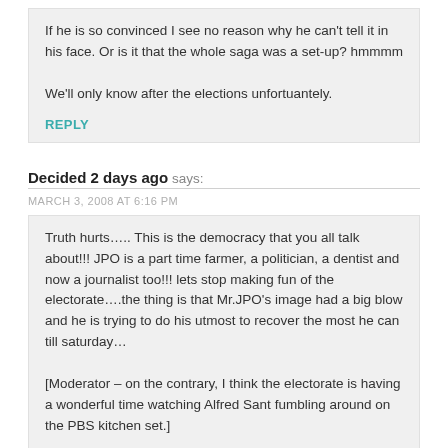If he is so convinced I see no reason why he can't tell it in his face. Or is it that the whole saga was a set-up? hmmmm

We'll only know after the elections unfortuantely.
REPLY
Decided 2 days ago says:
MARCH 3, 2008 AT 6:16 PM
Truth hurts….. This is the democracy that you all talk about!!! JPO is a part time farmer, a politician, a dentist and now a journalist too!!! lets stop making fun of the electorate….the thing is that Mr.JPO's image had a big blow and he is trying to do his utmost to recover the most he can till saturday…

[Moderator – on the contrary, I think the electorate is having a wonderful time watching Alfred Sant fumbling around on the PBS kitchen set.]
REPLY
Shannon Andrews says: